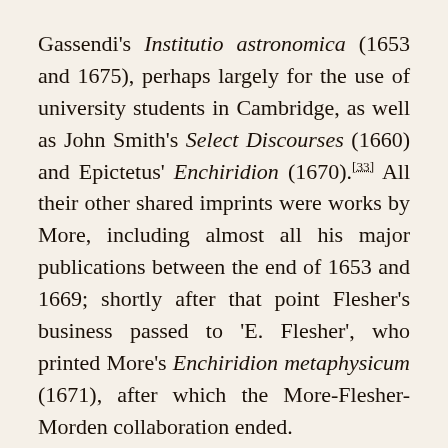Gassendi's Institutio astronomica (1653 and 1675), perhaps largely for the use of university students in Cambridge, as well as John Smith's Select Discourses (1660) and Epictetus' Enchiridion (1670).[33] All their other shared imprints were works by More, including almost all his major publications between the end of 1653 and 1669; shortly after that point Flesher's business passed to 'E. Flesher', who printed More's Enchiridion metaphysicum (1671), after which the More-Flesher-Morden collaboration ended.
More's Conjectura is a threefold interpretation of the first three chapters of Genesis according to his still-developing understanding of the 'literal',